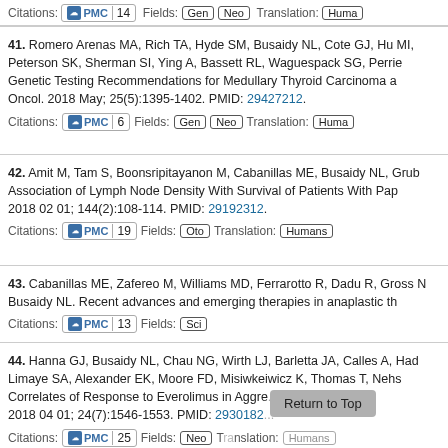Citations: PMC 14   Fields: Gen Neo   Translation: Huma
41. Romero Arenas MA, Rich TA, Hyde SM, Busaidy NL, Cote GJ, Hu MI, Peterson SK, Sherman SI, Ying A, Bassett RL, Waguespack SG, Perrie... Genetic Testing Recommendations for Medullary Thyroid Carcinoma a... Oncol. 2018 May; 25(5):1395-1402. PMID: 29427212.
Citations: PMC 6   Fields: Gen Neo   Translation: Huma
42. Amit M, Tam S, Boonsripitayanon M, Cabanillas ME, Busaidy NL, Grub... Association of Lymph Node Density With Survival of Patients With Pap... 2018 02 01; 144(2):108-114. PMID: 29192312.
Citations: PMC 19   Fields: Oto   Translation: Humans
43. Cabanillas ME, Zafereo M, Williams MD, Ferrarotto R, Dadu R, Gross ... Busaidy NL. Recent advances and emerging therapies in anaplastic th...
Citations: PMC 13   Fields: Sci
44. Hanna GJ, Busaidy NL, Chau NG, Wirth LJ, Barletta JA, Calles A, Had... Limaye SA, Alexander EK, Moore FD, Misiwkeiwicz K, Thomas T, Nehs... Correlates of Response to Everolimus in Aggre... Radioidine-refra... 2018 04 01; 24(7):1546-1553. PMID: 2930182...
Citations: PMC 25   Fields: Neo   Translation: Humans